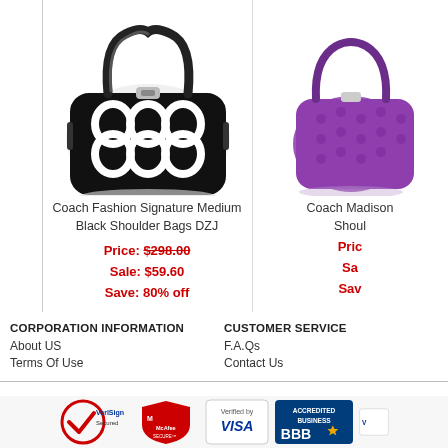[Figure (photo): Coach Fashion Signature Medium Black Shoulder Bags DZJ - black and white patterned handbag]
Coach Fashion Signature Medium Black Shoulder Bags DZJ
Price: $298.00
Sale: $59.60
Save: 80% off
[Figure (photo): Coach Madison Shoulder Bag - purple handbag (partially visible)]
Coach Madison Shou...
Pric...
Sa...
Sav...
CORPORATION INFORMATION
About US
Terms Of Use
CUSTOMER SERVICE
F.A.Qs
Contact Us
[Figure (logo): VeriSign Secured badge]
[Figure (logo): McAfee SECURE badge]
[Figure (logo): Verified by VISA badge]
[Figure (logo): BBB Accredited Business badge]
[Figure (logo): TRUSTe badge (partially visible)]